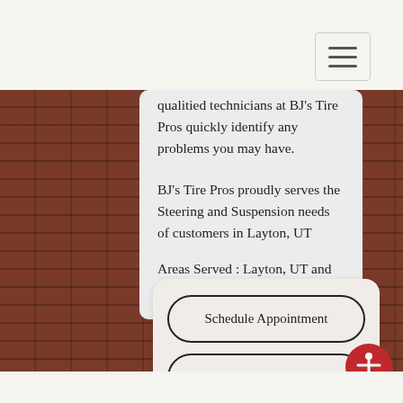qualitied technicians at BJ's Tire Pros quickly identify any problems you may have.
BJ's Tire Pros proudly serves the Steering and Suspension needs of customers in Layton, UT
Areas Served : Layton, UT and surrounding areas
Schedule Appointment
Request a Quote